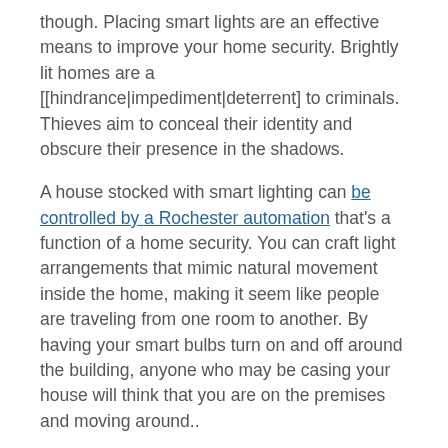though. Placing smart lights are an effective means to improve your home security. Brightly lit homes are a [[hindrance|impediment|deterrent] to criminals. Thieves aim to conceal their identity and obscure their presence in the shadows.
A house stocked with smart lighting can be controlled by a Rochester automation that's a function of a home security. You can craft light arrangements that mimic natural movement inside the home, making it seem like people are traveling from one room to another. By having your smart bulbs turn on and off around the building, anyone who may be casing your house will think that you are on the premises and moving around..
Where To Install Smart Lighting